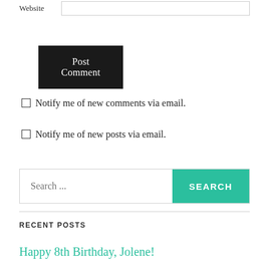Website
[Figure (screenshot): Post Comment button - black background with white text]
Notify me of new comments via email.
Notify me of new posts via email.
[Figure (screenshot): Search bar with placeholder text 'Search ...' and a teal SEARCH button]
RECENT POSTS
Happy 8th Birthday, Jolene!